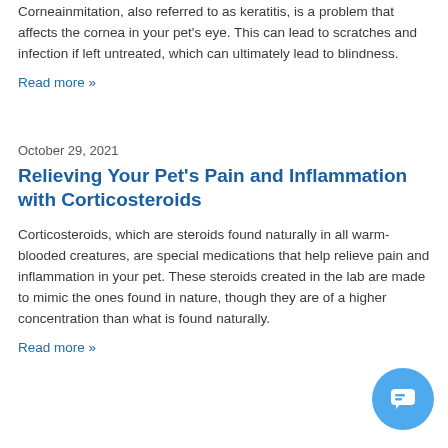Corneainmitation, also referred to as keratitis, is a problem that affects the cornea in your pet's eye. This can lead to scratches and infection if left untreated, which can ultimately lead to blindness.
Read more »
October 29, 2021
Relieving Your Pet's Pain and Inflammation with Corticosteroids
Corticosteroids, which are steroids found naturally in all warm-blooded creatures, are special medications that help relieve pain and inflammation in your pet. These steroids created in the lab are made to mimic the ones found in nature, though they are of a higher concentration than what is found naturally.
Read more »